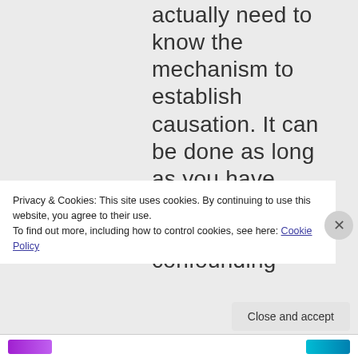actually need to know the mechanism to establish causation. It can be done as long as you have properly controlled all confounding
Privacy & Cookies: This site uses cookies. By continuing to use this website, you agree to their use.
To find out more, including how to control cookies, see here: Cookie Policy
Close and accept